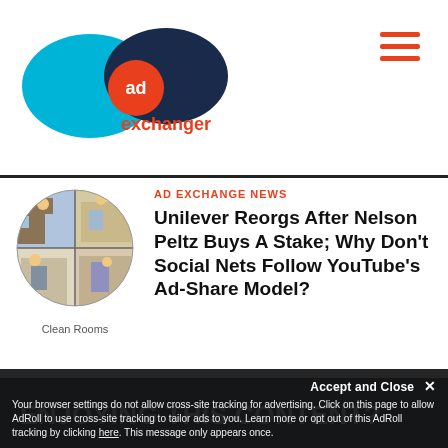[Figure (logo): AdExchanger logo with cyan and dark navy overlapping ellipses and orange 'ad' circle badge, with text 'exchanger' in orange]
Unilever Reorgs After Nelson Peltz Buys A Stake; Why Don't Social Nets Follow YouTube's Ad-Share Model?
[Figure (illustration): Circular illustrated image depicting 'Clean Rooms' concept with cartoon figures in domestic/industrial scenes, four-panel grid style]
Clean Rooms
ENJOYING THIS CONTENT?
Sign up to be an AdExchanger Member today and get unlimited access to articles like this, plus proprietary data and research, conference discounts, on-demand access to event content
Your browser settings do not allow cross-site tracking for advertising. Click on this page to allow AdRoll to use cross-site tracking to tailor ads to you. Learn more or opt out of this AdRoll tracking by clicking here. This message only appears once.